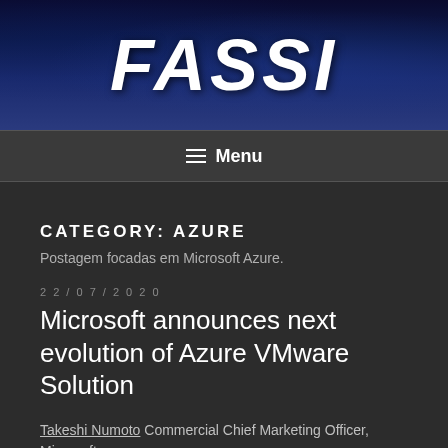[Figure (logo): Fassi website header banner with city skyline night background and FASSI logo in white italic bold text]
≡ Menu
CATEGORY: AZURE
Postagem focadas em Microsoft Azure.
22/07/2020
Microsoft announces next evolution of Azure VMware Solution
Takeshi Numoto Commercial Chief Marketing Officer, Microsoft